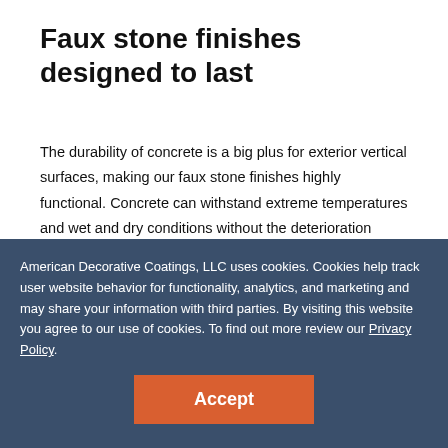Faux stone finishes designed to last
The durability of concrete is a big plus for exterior vertical surfaces, making our faux stone finishes highly functional. Concrete can withstand extreme temperatures and wet and dry conditions without the deterioration inherent with wood and vinyl siding or actual stones that can weaken and fall out. Our continuous-surface vertical concrete overlays repel moisture and eliminate voids and gaps that can trap water, encouraging mold, fungus and insect infestation. Benefits include:
American Decorative Coatings, LLC uses cookies. Cookies help track user website behavior for functionality, analytics, and marketing and may share your information with third parties. By visiting this website you agree to our use of cookies. To find out more review our Privacy Policy.